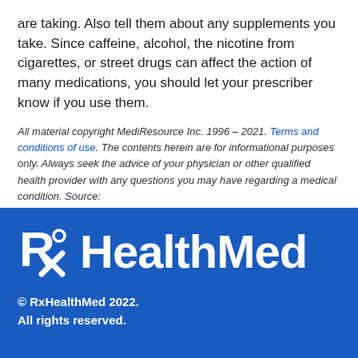are taking. Also tell them about any supplements you take. Since caffeine, alcohol, the nicotine from cigarettes, or street drugs can affect the action of many medications, you should let your prescriber know if you use them.
All material copyright MediResource Inc. 1996 – 2021. Terms and conditions of use. The contents herein are for informational purposes only. Always seek the advice of your physician or other qualified health provider with any questions you may have regarding a medical condition. Source: www.medbroadcast.com/drug/getdrug/pms-Ramipril
[Figure (logo): RxHealthMed logo — Rx symbol in white on blue background followed by HealthMed in large white bold text]
© RxHealthMed 2022. All rights reserved.